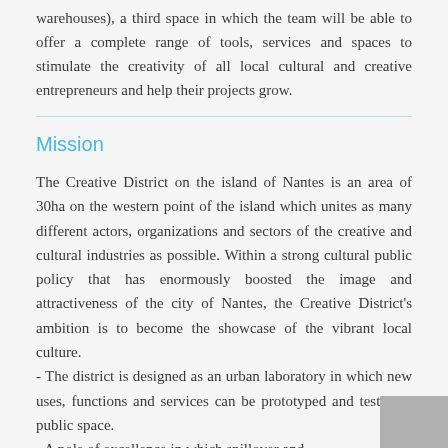warehouses), a third space in which the team will be able to offer a complete range of tools, services and spaces to stimulate the creativity of all local cultural and creative entrepreneurs and help their projects grow.
Mission
The Creative District on the island of Nantes is an area of 30ha on the western point of the island which unites as many different actors, organizations and sectors of the creative and cultural industries as possible. Within a strong cultural public policy that has enormously boosted the image and attractiveness of the city of Nantes, the Creative District's ambition is to become the showcase of the vibrant local culture.
- The district is designed as an urban laboratory in which new uses, functions and services can be prototyped and tested in public space.
- A pole of excellence in which spillover and transdisciplinary approaches are fostered.